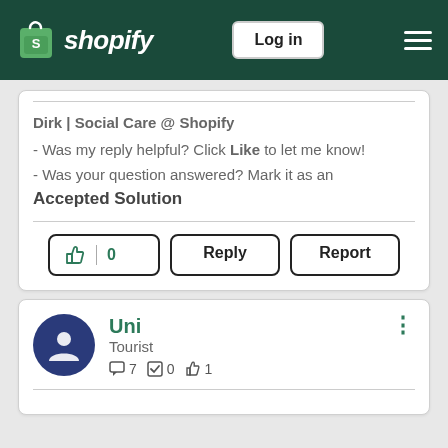Shopify — Log in
Dirk | Social Care @ Shopify
 - Was my reply helpful? Click Like to let me know!
 - Was your question answered? Mark it as an Accepted Solution
[Figure (screenshot): Action buttons: thumbs up with count 0, Reply button, Report button]
Uni
Tourist
7 posts 0 accepted solutions 1 like